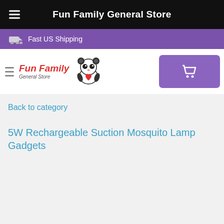Fun Family General Store
Fast US Shipping
[Figure (logo): Fun Family General Store logo with panda mascot holding a heart]
Back to category
5W Rechargeable Suction Mosquito Lamp Gadgets